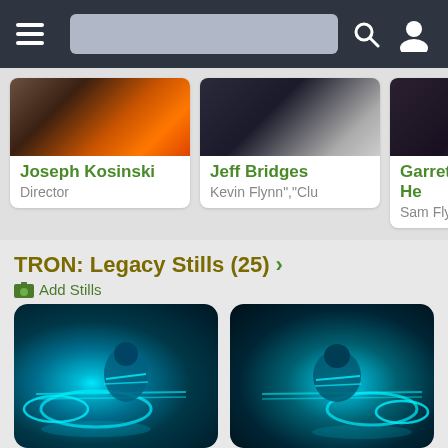Navigation bar with hamburger menu, search bar, and user icon
[Figure (photo): Cast card: Joseph Kosinski - Director]
[Figure (photo): Cast card: Jeff Bridges - Kevin Flynn, Clu]
[Figure (photo): Cast card: Garrett Hedlund - Sam Flynn]
TRON: Legacy Stills (25) >
Add Stills
[Figure (photo): TRON Legacy still image showing light cycle rider with glowing blue neon light trails - left image]
[Figure (photo): TRON Legacy still image showing light cycle rider with glowing blue neon light trails - right image]